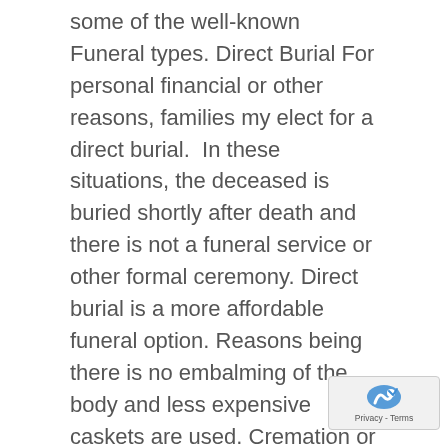some of the well-known Funeral types. Direct Burial For personal financial or other reasons, families my elect for a direct burial.  In these situations, the deceased is buried shortly after death and there is not a funeral service or other formal ceremony. Direct burial is a more affordable funeral option. Reasons being there is no embalming of the body and less expensive caskets are used. Cremation or Direct Cremation In a Cremation there is most often a viewing as part of the funeral service prior to the actual cremation. Then with Direct Cremation, there is no viewing. Celebration of Life Many families are opting for a celebration of life ceremony as an option to a more traditional funeral.  Often these ceremonies take place in alternative locations from the funeral home or church. They are sometimes held in restaurants, parks, pubs, sporting facilities or other venues that were a favorite destination of the deceased. While there is still the element of mourning, these